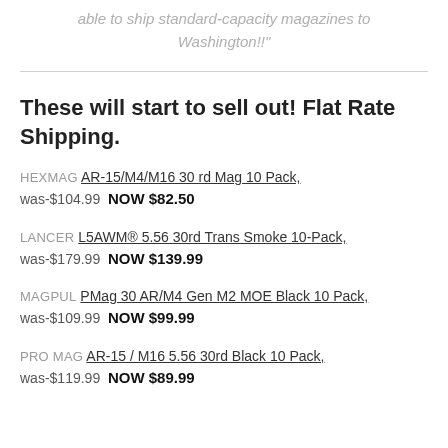able to ship standard-capacity magazines to Washington!!"
These will start to sell out! Flat Rate Shipping.
HEXMAG AR-15/M4/M16 30 rd Mag 10 Pack, was-$104.99  NOW $82.50
LANCER L5AWM® 5.56 30rd Trans Smoke 10-Pack, was-$179.99  NOW $139.99
MAGPUL PMag 30 AR/M4 Gen M2 MOE Black 10 Pack, was-$109.99  NOW $99.99
PRO MAG AR-15 / M16 5.56 30rd Black 10 Pack, was-$119.99  NOW $89.99